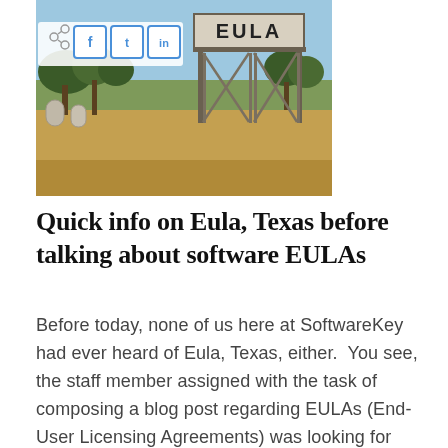[Figure (photo): Outdoor photo of Eula, Texas showing a metal gate/arch sign reading EULA, with dry brown grass, sparse trees, and a blue sky background. Social media share buttons (Facebook, Twitter, LinkedIn) overlay the top-left of the image.]
Quick info on Eula, Texas before talking about software EULAs
Before today, none of us here at SoftwareKey had ever heard of Eula, Texas, either.  You see, the staff member assigned with the task of composing a blog post regarding EULAs (End-User Licensing Agreements) was looking for inspiration (OK, let's get real — EULAs are, quite